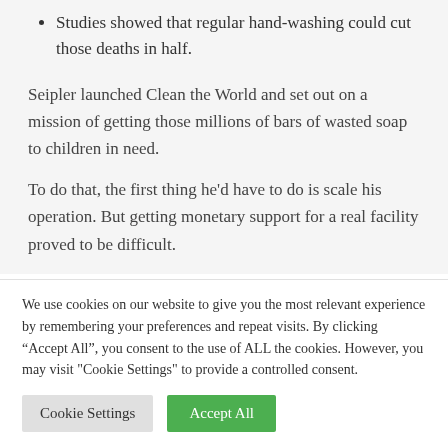Studies showed that regular hand-washing could cut those deaths in half.
Seipler launched Clean the World and set out on a mission of getting those millions of bars of wasted soap to children in need.
To do that, the first thing he'd have to do is scale his operation. But getting monetary support for a real facility proved to be difficult.
We use cookies on our website to give you the most relevant experience by remembering your preferences and repeat visits. By clicking “Accept All”, you consent to the use of ALL the cookies. However, you may visit "Cookie Settings" to provide a controlled consent.